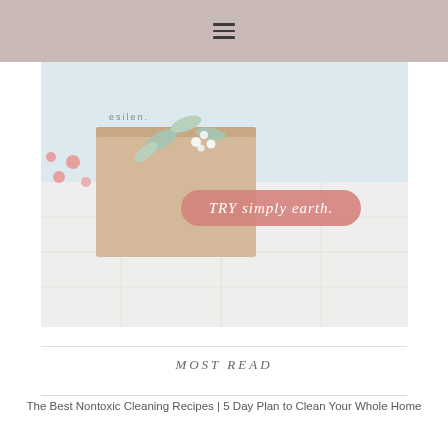☰
[Figure (photo): Photo of a beige subscription box with botanical sprigs and pink flowers on a light background, with a pink rounded-rectangle button overlay reading 'TRY simply earth.']
MOST READ
The Best Nontoxic Cleaning Recipes | 5 Day Plan to Clean Your Whole Home